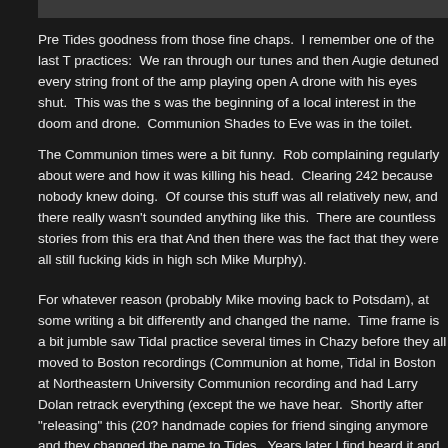Pre Tides goodness from those fine chaps.  I remember one of the last T practices:  We ran through our tunes and then Augie detuned every string front of the amp playing open A drone with his eyes shut.  This was the s was the beginning of a local interest in the doom and drone.  Communion Shades to Eve was in the toilet.
The Communion times were a bit funny.  Rob complaining regularly about were and how it was killing his head.  Clearing 242 because nobody knew doing.  Of course this stuff was all relatively new, and there really wasn't sounded anything like this.  There are countless stories from this era that And then there was the fact that they were all still fucking kids in high sch Mike Murphy).
For whatever reason (probably Mike moving back to Potsdam), at some writing a bit differently and changed the name.  Time frame is a bit jumble saw Tidal practice several times in Chazy before they all moved to Boston recordings (Communion at home, Tidal in Boston at Northeastern University Communion recording and had Larry Dolan retrack everything (except the we have hear.  Shortly after "releasing" this (20? handmade copies for friend singing anymore and they changed the name to Tides.  Years later I find heard it and Augie didn't have a personal copy (hence this).